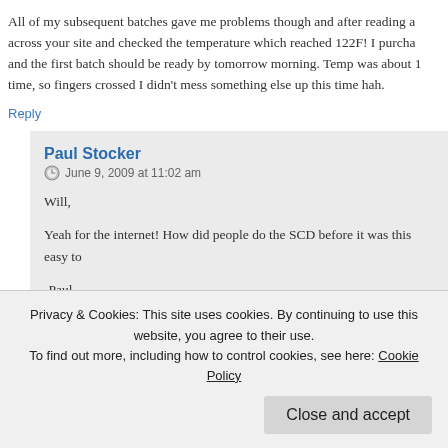All of my subsequent batches gave me problems though and after reading across your site and checked the temperature which reached 122F! I purchased and the first batch should be ready by tomorrow morning. Temp was about 10 time, so fingers crossed I didn't mess something else up this time hah.
Reply
Paul Stocker
June 9, 2009 at 11:02 am
Will,
Yeah for the internet! How did people do the SCD before it was this easy to
-Paul
Reply
Privacy & Cookies: This site uses cookies. By continuing to use this website, you agree to their use. To find out more, including how to control cookies, see here: Cookie Policy
Close and accept